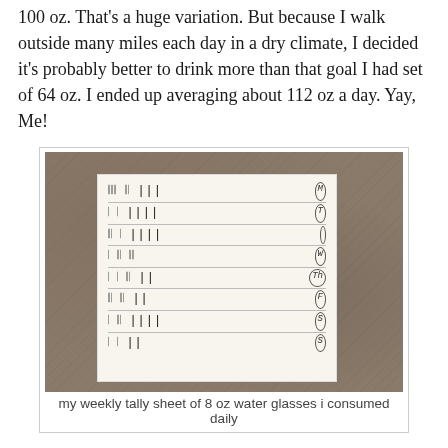100 oz.  That's a huge variation.  But because I walk outside many miles each day in a dry climate, I decided it's probably better to drink more than that goal I had set of 64 oz. I ended up averaging about 112 oz a day.  Yay, Me!
[Figure (photo): A handwritten weekly tally sheet on white paper resting on a granite countertop. The tally sheet shows rows of tally marks for each day of the week (M, T, W, Th, F, S, S), tracking 8 oz water glasses consumed daily.]
my weekly tally sheet of 8 oz water glasses i consumed daily
One thing that made it easy to do that was using a glass that holds 8 oz.  I drank one whenever I thought about water.  Gulp, gulp, gulp- and after about 10 gulps- It was gone.  And